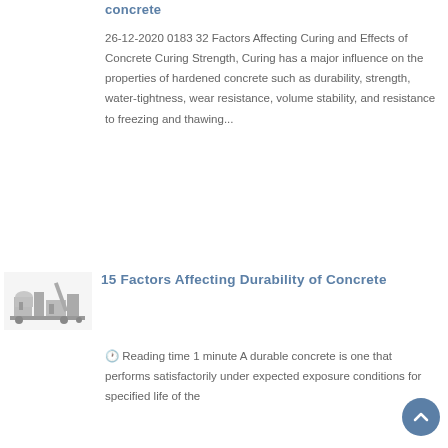concrete
26-12-2020 0183 32 Factors Affecting Curing and Effects of Concrete Curing Strength, Curing has a major influence on the properties of hardened concrete such as durability, strength, water-tightness, wear resistance, volume stability, and resistance to freezing and thawing...
[Figure (photo): Thumbnail image of concrete mixing/batching plant machinery]
15 Factors Affecting Durability of Concrete
🕐 Reading time 1 minute A durable concrete is one that performs satisfactorily under expected exposure conditions for specified life of the